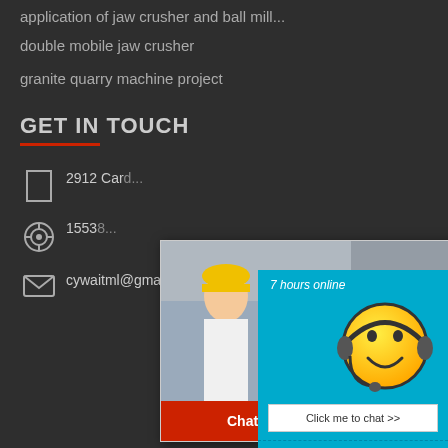application of jaw crusher and ball mill
double mobile jaw crusher
granite quarry machine project
GET IN TOUCH
2912 Card...
15538...
cywaitml@gmail.com superbrian707@...
[Figure (screenshot): Live chat popup with construction workers photo, red LIVE CHAT title, Click for a Free Consultation text, Chat now and Chat later buttons]
[Figure (screenshot): Right sidebar with teal background showing 7 hours online, smiley face with headset, Click me to chat button, Enquiry section, superbrian707@gma email]